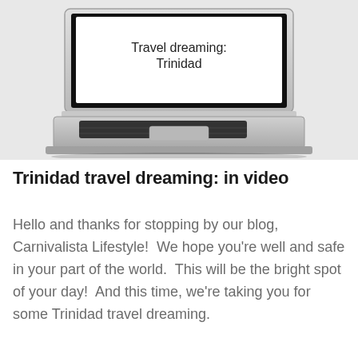[Figure (screenshot): A laptop computer displayed against a light grey background. The laptop screen shows white background with the text 'Travel dreaming: Trinidad' in dark font.]
Trinidad travel dreaming: in video
Hello and thanks for stopping by our blog, Carnivalista Lifestyle!  We hope you're well and safe in your part of the world.  This will be the bright spot of your day!  And this time, we're taking you for some Trinidad travel dreaming.